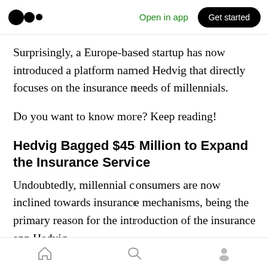Open in app | Get started
Surprisingly, a Europe-based startup has now introduced a platform named Hedvig that directly focuses on the insurance needs of millennials.
Do you want to know more? Keep reading!
Hedvig Bagged $45 Million to Expand the Insurance Service
Undoubtedly, millennial consumers are now inclined towards insurance mechanisms, being the primary reason for the introduction of the insurance app Hedvig.